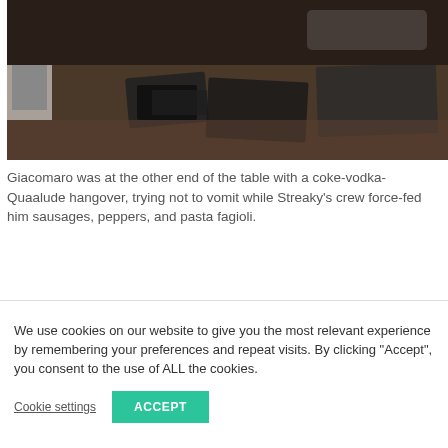[Figure (photo): A dark, blurry photo of a wooden table with items on it including what appears to be books or a wallet/phone and other objects, with a monitor or screen partially visible on the left side.]
Giacomaro was at the other end of the table with a coke-vodka-Quaalude hangover, trying not to vomit while Streaky's crew force-fed him sausages, peppers, and pasta fagioli.
We use cookies on our website to give you the most relevant experience by remembering your preferences and repeat visits. By clicking "Accept", you consent to the use of ALL the cookies.